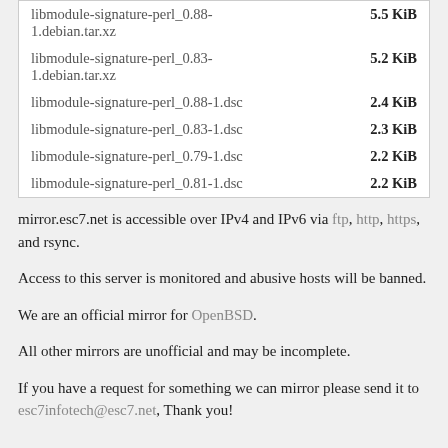| filename | size |
| --- | --- |
| libmodule-signature-perl_0.88-1.debian.tar.xz | 5.5 KiB |
| libmodule-signature-perl_0.83-1.debian.tar.xz | 5.2 KiB |
| libmodule-signature-perl_0.88-1.dsc | 2.4 KiB |
| libmodule-signature-perl_0.83-1.dsc | 2.3 KiB |
| libmodule-signature-perl_0.79-1.dsc | 2.2 KiB |
| libmodule-signature-perl_0.81-1.dsc | 2.2 KiB |
mirror.esc7.net is accessible over IPv4 and IPv6 via ftp, http, https, and rsync.
Access to this server is monitored and abusive hosts will be banned.
We are an official mirror for OpenBSD.
All other mirrors are unofficial and may be incomplete.
If you have a request for something we can mirror please send it to esc7infotech@esc7.net, Thank you!